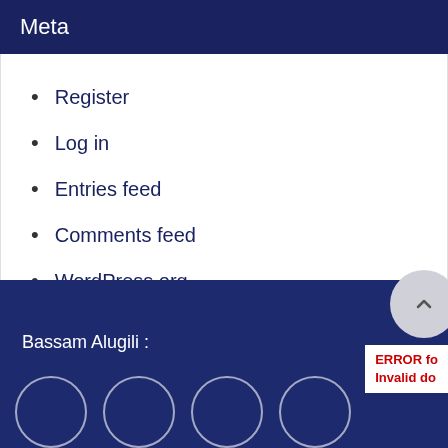Meta
Register
Log in
Entries feed
Comments feed
WordPress.org
Bassam Alugili :